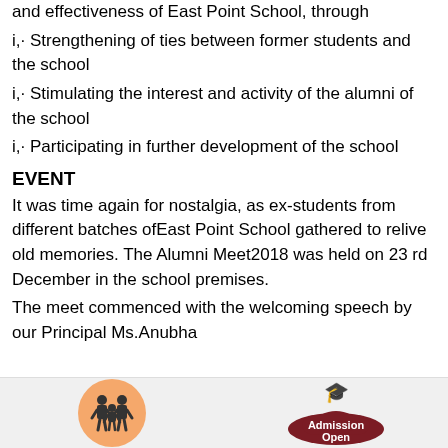and effectiveness of East Point School, through
i,· Strengthening of ties between former students and the school
i,· Stimulating the interest and activity of the alumni of the school
i,· Participating in further development of the school
EVENT
It was time again for nostalgia, as ex-students from different batches ofEast Point School gathered to relive old memories. The Alumni Meet2018 was held on 23 rd December in the school premises.
The meet commenced with the welcoming speech by our Principal Ms.Anubha
[Figure (illustration): Footer banner with orange circle containing family icon on the left, and a graduation cap with 'Admission Open' cloud badge on the right]